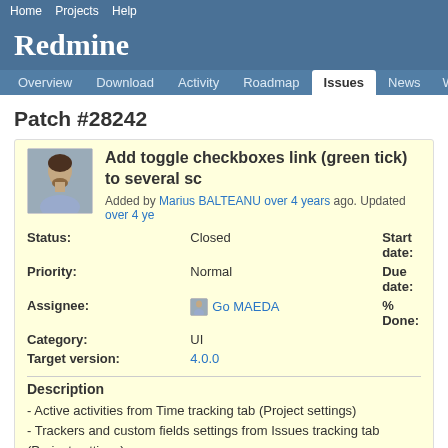Home  Projects  Help
Redmine
Overview  Download  Activity  Roadmap  Issues  News  Wi...
Patch #28242
Add toggle checkboxes link (green tick) to several sc...
Added by Marius BALTEANU over 4 years ago. Updated over 4 ye...
| Field | Value | Field | Value |
| --- | --- | --- | --- |
| Status: | Closed | Start date: |  |
| Priority: | Normal | Due date: |  |
| Assignee: | Go MAEDA | % Done: |  |
| Category: | UI |  |  |
| Target version: | 4.0.0 |  |  |
Description
- Active activities from Time tracking tab (Project settings)
- Trackers and custom fields settings from Issues tracking tab (Project settings)
- Project modules settings (Project settings)
- Roles permissions for each module (Administration)
0001-adds-toogle-checkboxes-to-activities-tab-from-projec.patch  (1.13 k...